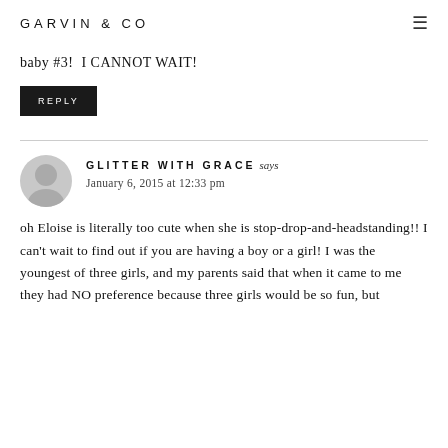GARVIN & CO
baby #3! I CANNOT WAIT!
REPLY
GLITTER WITH GRACE says
January 6, 2015 at 12:33 pm
oh Eloise is literally too cute when she is stop-drop-and-headstanding!! I can't wait to find out if you are having a boy or a girl! I was the youngest of three girls, and my parents said that when it came to me they had NO preference because three girls would be so fun, but